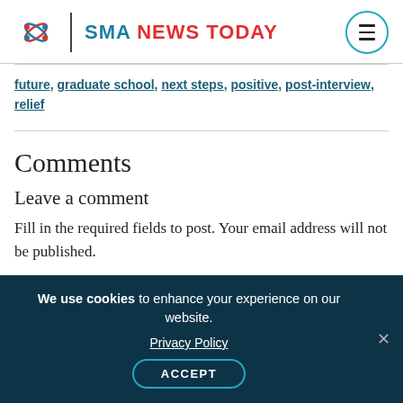SMA NEWS TODAY
future, graduate school, next steps, positive, post-interview, relief
Comments
Leave a comment
Fill in the required fields to post. Your email address will not be published.
Your Name    Your Email
We use cookies to enhance your experience on our website. Privacy Policy ACCEPT